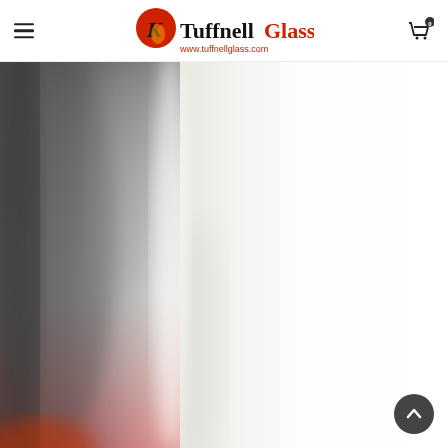TuffnellGlass — www.tuffnellglass.com
[Figure (photo): Close-up photo of glass with smoky grey and white swirled tones, showing a translucent glass texture fading from dark grey on the left to white/light on the right.]